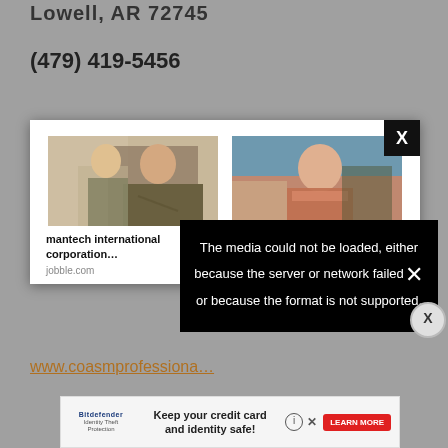Lowell, AR 72745
(479) 419-5456
[Figure (screenshot): Popup advertisement overlay with two ad items: 'mantech international corporation…' from jobble.com and 'Men, You Don't Need The Blue Pill If You Do This…' from iamhealth.life, with photos of people. A black media error overlay reads 'The media could not be loaded, either because the server or network failed or because the format is not supported.' A close X button is in the top-right corner.]
www.coasmprofessiona…
[Figure (screenshot): Bottom banner advertisement: Bitdefender Identity Theft Protection logo on left, 'Keep your credit card and identity safe!' text in center, red LEARN MORE button on right, with info (i) and X close icons.]